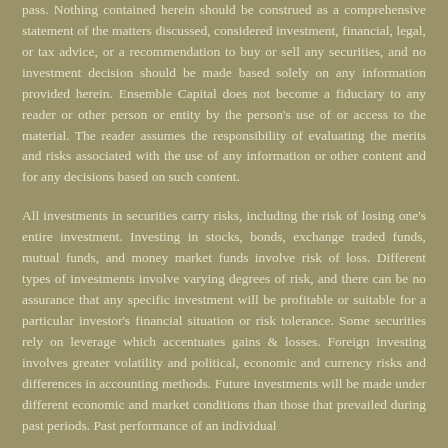pass. Nothing contained herein should be construed as a comprehensive statement of the matters discussed, considered investment, financial, legal, or tax advice, or a recommendation to buy or sell any securities, and no investment decision should be made based solely on any information provided herein. Ensemble Capital does not become a fiduciary to any reader or other person or entity by the person's use of or access to the material. The reader assumes the responsibility of evaluating the merits and risks associated with the use of any information or other content and for any decisions based on such content.
All investments in securities carry risks, including the risk of losing one's entire investment. Investing in stocks, bonds, exchange traded funds, mutual funds, and money market funds involve risk of loss. Different types of investments involve varying degrees of risk, and there can be no assurance that any specific investment will be profitable or suitable for a particular investor's financial situation or risk tolerance. Some securities rely on leverage which accentuates gains & losses. Foreign investing involves greater volatility and political, economic and currency risks and differences in accounting methods. Future investments will be made under different economic and market conditions than those that prevailed during past periods. Past performance of an individual